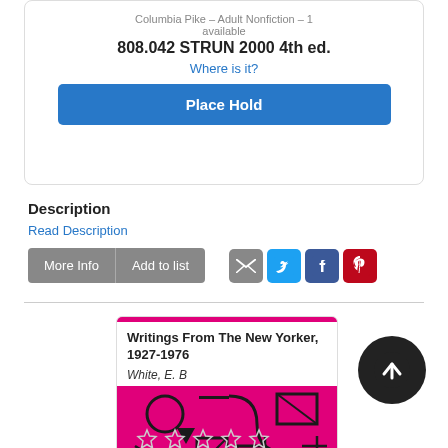Columbia Pike – Adult Nonfiction – 1 available
808.042 STRUN 2000 4th ed.
Where is it?
Place Hold
Description
Read Description
More Info
Add to list
[Figure (screenshot): Social sharing icons: email, twitter, facebook, pinterest]
[Figure (illustration): Book cover for 'Writings From The New Yorker, 1927-1976' by White, E. B — hot pink cover with abstract geometric shapes]
Writings From The New Yorker, 1927-1976
White, E. B
[Figure (other): 5 empty star rating icons]
[Figure (other): Circular dark up-arrow scroll-to-top button]